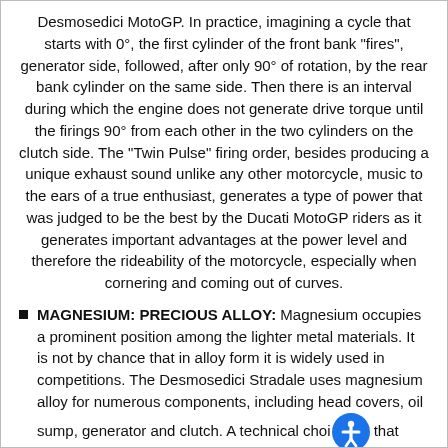Desmosedici MotoGP. In practice, imagining a cycle that starts with 0°, the first cylinder of the front bank "fires", generator side, followed, after only 90° of rotation, by the rear bank cylinder on the same side. Then there is an interval during which the engine does not generate drive torque until the firings 90° from each other in the two cylinders on the clutch side. The "Twin Pulse" firing order, besides producing a unique exhaust sound unlike any other motorcycle, music to the ears of a true enthusiast, generates a type of power that was judged to be the best by the Ducati MotoGP riders as it generates important advantages at the power level and therefore the rideability of the motorcycle, especially when cornering and coming out of curves.
MAGNESIUM: PRECIOUS ALLOY: Magnesium occupies a prominent position among the lighter metal materials. It is not by chance that in alloy form it is widely used in competitions. The Desmosedici Stradale uses magnesium alloy for numerous components, including head covers, oil sump, generator and clutch. A technical choice that also has a positive impact on the bike's lo
ALUMINUM: DURABILITY AND LIGHTNESS: The